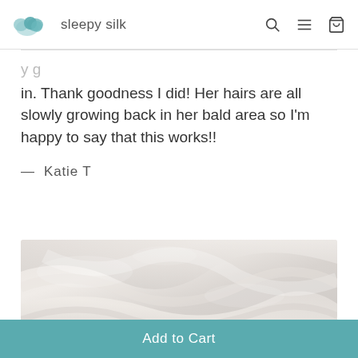sleepy silk
in. Thank goodness I did! Her hairs are all slowly growing back in her bald area so I'm happy to say that this works!!
— Katie T
[Figure (photo): Close-up photograph of white/light grey silk fabric with soft folds and sheen]
Add to Cart